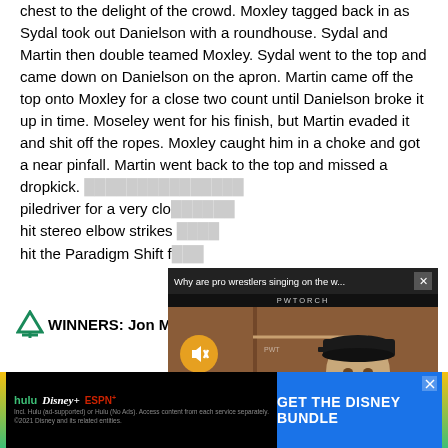chest to the delight of the crowd. Moxley tagged back in as Sydal took out Danielson with a roundhouse. Sydal and Martin then double teamed Moxley. Sydal went to the top and came down on Danielson on the apron. Martin came off the top onto Moxley for a close two count until Danielson broke it up in time. Moseley went for his finish, but Martin evaded it and shit off the ropes. Moxley caught him in a choke and got a near pinfall. Martin went back to the top and missed a dropkick. [obscured] piledriver for a very clo[obscured] hit stereo elbow strikes [obscured] hit the Paradigm Shift f[obscured]
[Figure (screenshot): Video popup overlay showing a wrestling video titled 'Why are pro wrestlers singing on the w...' from PWTORCH, with a muted video playing showing a man in a black cap against a wrestling ring background.]
WINNERS: Jon Moxley [obscured]
– As Mox[obscured] Danielson [obscured] attack[obscured] ir.
(Moxchan's Take: Great main event for AEW Ram[obscured]
[Figure (screenshot): Advertisement banner for GET THE DISNEY BUNDLE featuring Hulu, Disney+, and ESPN+ logos on a black background with blue CTA button.]